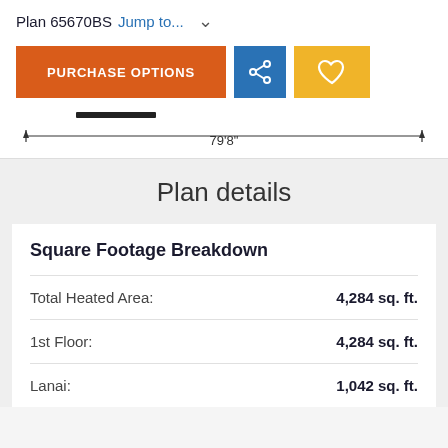Plan 65670BS  Jump to...
PURCHASE OPTIONS
[Figure (schematic): Partial floor plan dimension line showing 79'8" width measurement with arrows]
Plan details
Square Footage Breakdown
|  |  |
| --- | --- |
| Total Heated Area: | 4,284 sq. ft. |
| 1st Floor: | 4,284 sq. ft. |
| Lanai: | 1,042 sq. ft. |